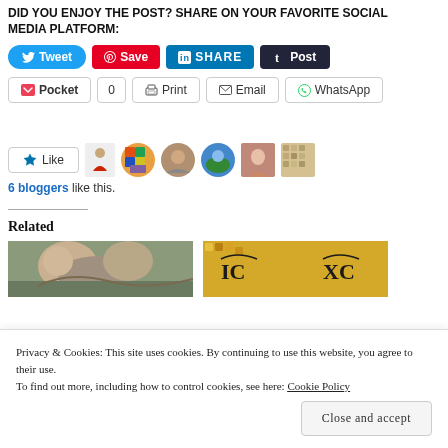DID YOU ENJOY THE POST? SHARE ON YOUR FAVORITE SOCIAL MEDIA PLATFORM:
[Figure (screenshot): Social sharing buttons row 1: Tweet (blue), Save (red/Pinterest), SHARE (LinkedIn blue), Post (Tumblr dark)]
[Figure (screenshot): Social sharing buttons row 2: Pocket with count 0, Print, Email, WhatsApp]
[Figure (screenshot): Like button with star, followed by avatar icons of 6 bloggers who liked the post]
6 bloggers like this.
Related
[Figure (photo): Two related article thumbnail images side by side: left shows a painting/fresco detail, right shows a golden Byzantine mosaic with IC XC text]
Privacy & Cookies: This site uses cookies. By continuing to use this website, you agree to their use.
To find out more, including how to control cookies, see here: Cookie Policy
Close and accept